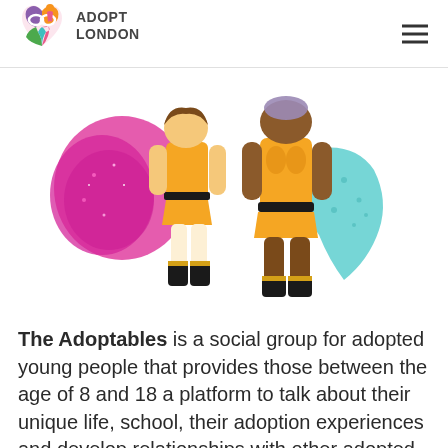ADOPT LONDON
[Figure (illustration): Two superhero cartoon characters. Left: female figure in yellow costume with hot pink glittery cape, black boots. Right: male figure in yellow and teal patterned cape, dark skin, black boots. Both headless/faceless in style.]
The Adoptables is a social group for adopted young people that provides those between the age of 8 and 18 a platform to talk about their unique life, school, their adoption experiences and develop relationships with other adopted young...